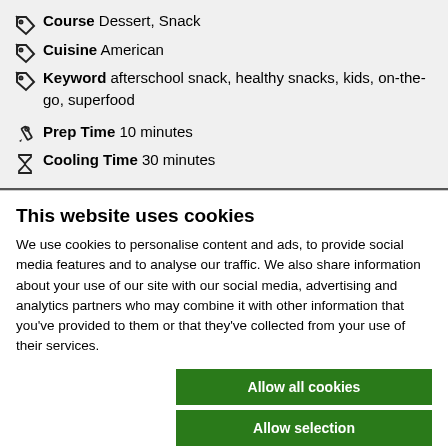Course  Dessert, Snack
Cuisine  American
Keyword  afterschool snack, healthy snacks, kids, on-the-go, superfood
Prep Time  10 minutes
Cooling Time  30 minutes
This website uses cookies
We use cookies to personalise content and ads, to provide social media features and to analyse our traffic. We also share information about your use of our site with our social media, advertising and analytics partners who may combine it with other information that you've provided to them or that they've collected from your use of their services.
Allow all cookies
Allow selection
Use necessary cookies only
Necessary  Preferences  Statistics  Marketing  Show details